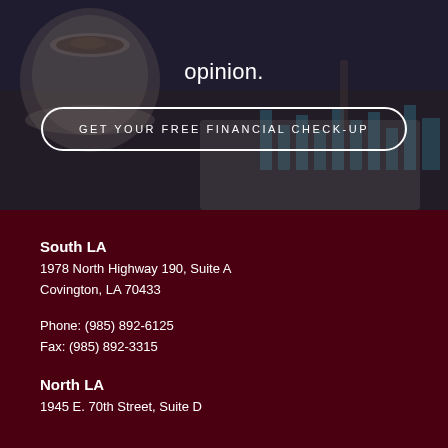opinion.
GET YOUR FREE FINANCIAL CHECK-UP
South LA
1978 North Highway 190, Suite A
Covington, LA 70433
Phone: (985) 892-6125
Fax: (985) 892-3315
North LA
1945 E. 70th Street, Suite D